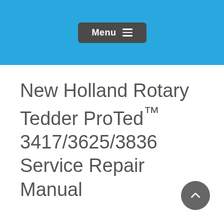Menu
New Holland Rotary Tedder ProTed™ 3417/3625/3836 Service Repair Manual